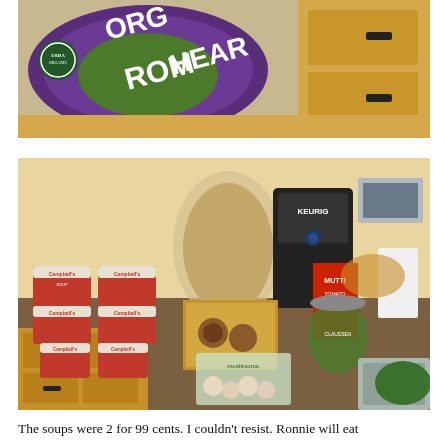[Figure (photo): Top portion of a photo showing bags of Organic Romaine Hearts lettuce on a wooden dresser/counter surface]
[Figure (photo): Photo of grocery items laid out on a kitchen counter including Campbell's soup cups, a bag of bread/grain, a Keurig coffee maker, Mutti tomato paste, a jar of pickles, mushrooms in a container, cookies in a box, and other items]
The soups were 2 for 99 cents.  I couldn't resist.  Ronnie will eat